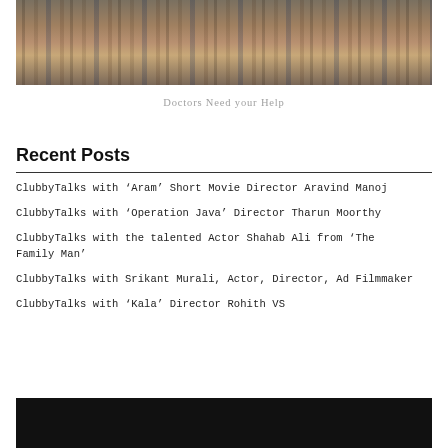[Figure (photo): Photo of a crowd of children and people standing in a row, showing their lower bodies and legs against a dirt/earth background.]
Doctors Need your Help
Recent Posts
ClubbyTalks with ‘Aram’ Short Movie Director Aravind Manoj
ClubbyTalks with ‘Operation Java’ Director Tharun Moorthy
ClubbyTalks with the talented Actor Shahab Ali from ‘The Family Man’
ClubbyTalks with Srikant Murali, Actor, Director, Ad Filmmaker
ClubbyTalks with ‘Kala’ Director Rohith VS
[Figure (photo): Dark/black image at the bottom of the page.]